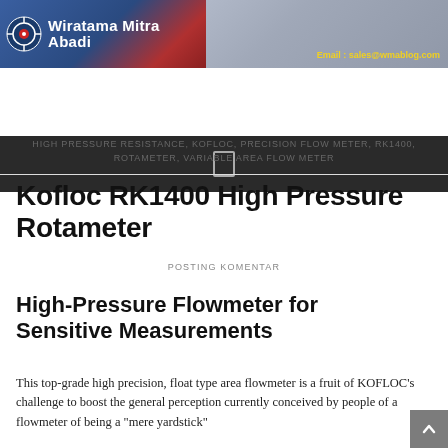Wiratama Mitra Abadi — Email: sales@wmablog.com
[Figure (logo): Wiratama Mitra Abadi company logo with blue/red gradient banner and circular target icon]
HIGH PRESSURE RESISTANCE, KOFLOC, PRECISION FLOW METER, RK1400, ROTAMETER, VARIABLE AREA FLOW METER
Kofloc RK1400 High Pressure Rotameter
POSTING KOMENTAR
High-Pressure Flowmeter for Sensitive Measurements
This top-grade high precision, float type area flowmeter is a fruit of KOFLOC's challenge to boost the general perception currently conceived by people of a flowmeter of being a "mere yardstick"